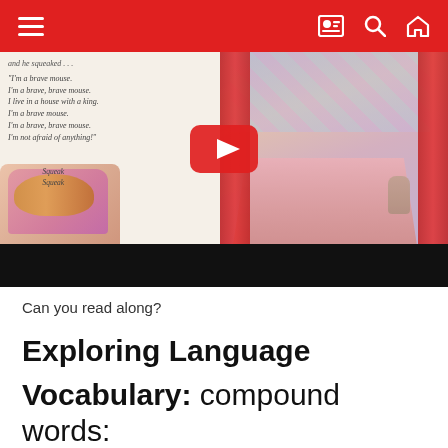Navigation bar with hamburger menu, profile, search, and home icons
[Figure (screenshot): Video thumbnail showing a person reading a children's book with a brave mouse poem. Book text reads: 'and he squeaked... I'm a brave mouse. I'm a brave, brave mouse. I live in a house with a king. I'm a brave mouse. I'm a brave, brave mouse. I'm not afraid of anything!' with 'Squeak Squeak' text and circus/theater illustration. YouTube play button overlaid.]
Can you read along?
Exploring Language
Vocabulary: compound words: